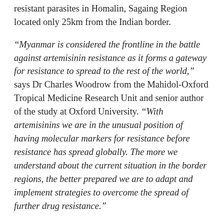resistant parasites in Homalin, Sagaing Region located only 25km from the Indian border.
“Myanmar is considered the frontline in the battle against artemisinin resistance as it forms a gateway for resistance to spread to the rest of the world,” says Dr Charles Woodrow from the Mahidol-Oxford Tropical Medicine Research Unit and senior author of the study at Oxford University. “With artemisinins we are in the unusual position of having molecular markers for resistance before resistance has spread globally. The more we understand about the current situation in the border regions, the better prepared we are to adapt and implement strategies to overcome the spread of further drug resistance.”
The team obtained the DNA sequences of 940 samples of malaria infections (known as Plasmodium falciparum malaria parasites) from across Myanmar and neighbouring border regions in Thailand and Bangladesh between 2013 and 2014. Of those 940...